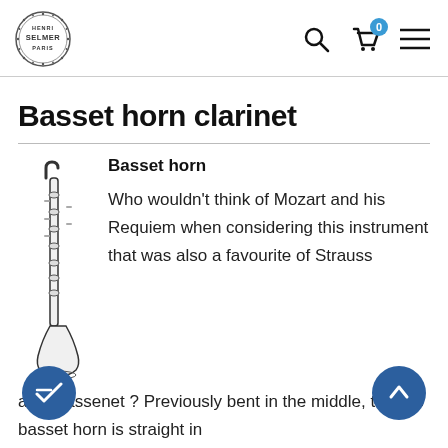Henri Selmer Paris — navigation header with logo, search, cart (0), and menu icons
Basset horn clarinet
[Figure (illustration): Illustration of a basset horn clarinet instrument, shown vertically with keys and a curved bell at the bottom]
Basset horn
Who wouldn't think of Mozart and his Requiem when considering this instrument that was also a favourite of Strauss and Massenet ? Previously bent in the middle, today's basset horn is straight in